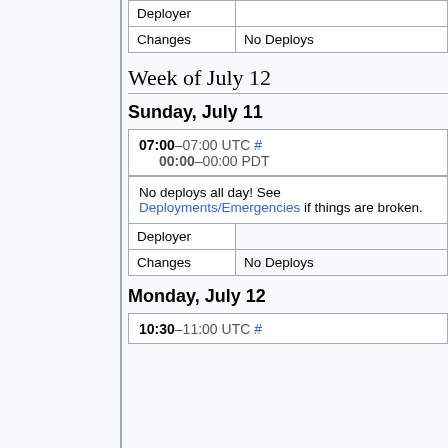| Deployer |  |
| Changes | No Deploys |
Week of July 12
Sunday, July 11
07:00–07:00 UTC #
00:00–00:00 PDT
| No deploys all day! See Deployments/Emergencies if things are broken. |  |
| Deployer |  |
| Changes | No Deploys |
Monday, July 12
10:30–11:00 UTC #